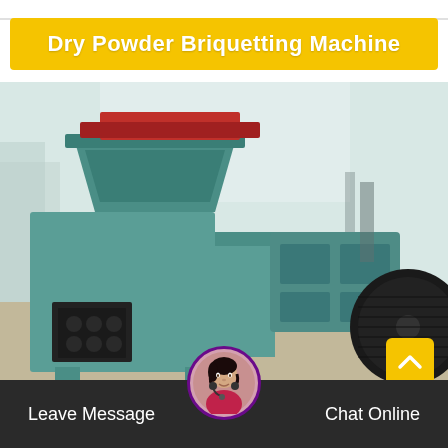Dry Powder Briquetting Machine
[Figure (photo): A teal/green colored dry powder briquetting machine photographed outdoors. The machine has a large hopper on top, a boxy main body with a small square output window showing briquettes, and a large drive wheel/pulley on the right side. Photographed in an industrial yard setting.]
Leave Message
Chat Online